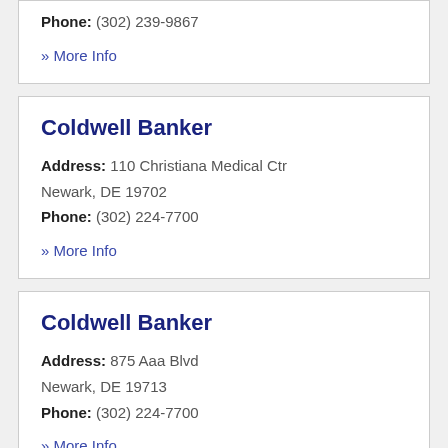Phone: (302) 239-9867
» More Info
Coldwell Banker
Address: 110 Christiana Medical Ctr
Newark, DE 19702
Phone: (302) 224-7700
» More Info
Coldwell Banker
Address: 875 Aaa Blvd
Newark, DE 19713
Phone: (302) 224-7700
» More Info